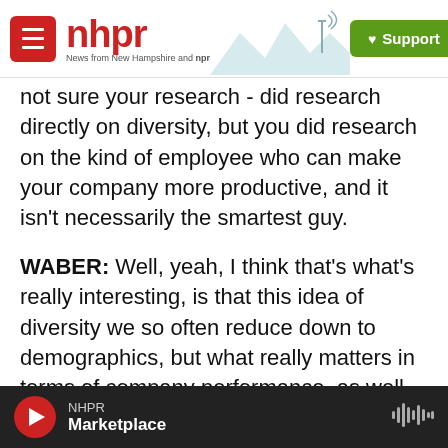NHPR – News from New Hampshire and NPR
not sure your research - did research directly on diversity, but you did research on the kind of employee who can make your company more productive, and it isn't necessarily the smartest guy.
WABER: Well, yeah, I think that's what's really interesting, is that this idea of diversity we so often reduce down to demographics, but what really matters in terms of company performance, as well as individual performance, is this diversity of opinion an interacting with people from different social groups that you don't normally interact with.
NHPR – Marketplace